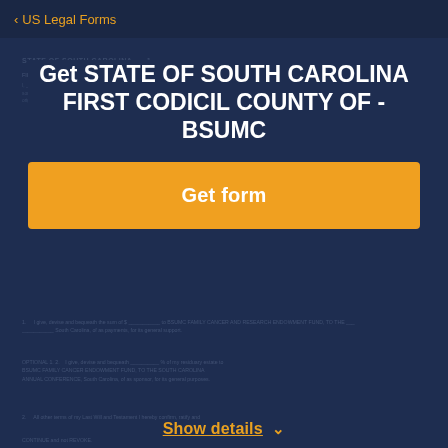< US Legal Forms
Get STATE OF SOUTH CAROLINA FIRST CODICIL COUNTY OF - BSUMC
Get form
Show details ˅